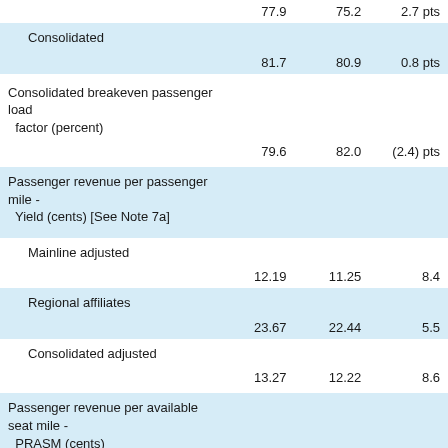|  | Current | Prior | Change |
| --- | --- | --- | --- |
|  | 77.9 | 75.2 | 2.7 pts |
| Consolidated |  |  |  |
|  | 81.7 | 80.9 | 0.8 pts |
| Consolidated breakeven passenger load factor (percent) |  |  |  |
|  | 79.6 | 82.0 | (2.4) pts |
| Passenger revenue per passenger mile - Yield (cents) [See Note 7a] |  |  |  |
| Mainline adjusted |  |  |  |
|  | 12.19 | 11.25 | 8.4 |
| Regional affiliates |  |  |  |
|  | 23.67 | 22.44 | 5.5 |
| Consolidated adjusted |  |  |  |
|  | 13.27 | 12.22 | 8.6 |
| Passenger revenue per available seat mile - PRASM (cents) |  |  |  |